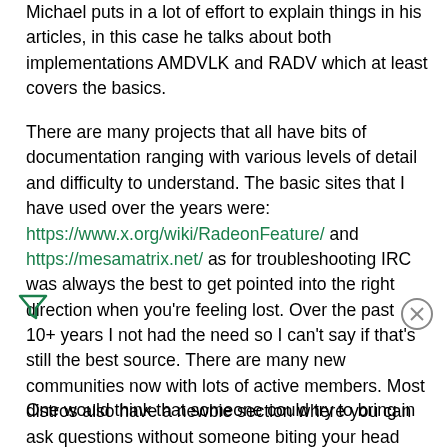Michael puts in a lot of effort to explain things in his articles, in this case he talks about both implementations AMDVLK and RADV which at least covers the basics.
There are many projects that all have bits of documentation ranging with various levels of detail and difficulty to understand. The basic sites that I have used over the years were: https://www.x.org/wiki/RadeonFeature/ and https://mesamatrix.net/ as for troubleshooting IRC was always the best to get pointed into the right direction when you're feeling lost. Over the past 10+ years I not had the need so I can't say if that's still the best source. There are many new communities now with lots of active members. Most distros also have a newbie section where you can ask questions without someone biting your head off. If you want a single domain with lots of information https://wiki.archlinux.org/ has been the best for me.
One would think that someone could try to bring in all the